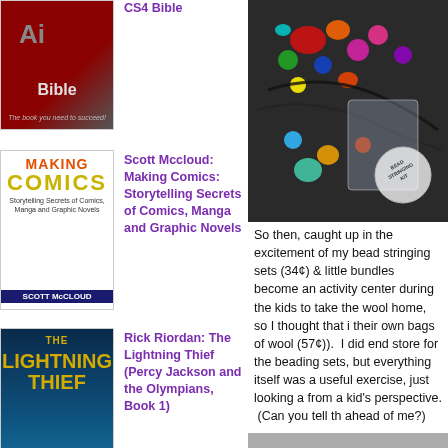[Figure (photo): Book cover: CS4 Bible (red cover with AI text and Bible title)]
CS4 Bible
[Figure (photo): Book cover: Making Comics by Scott McCloud]
Scott Mccloud: Making Comics: Storytelling Secrets of Comics, Manga and Graphic Novels
[Figure (photo): Book cover: The Lightning Thief by Rick Riordan]
Rick Riordan: The Lightning Thief (Percy Jackson and the Olympians, Book 1)
[Figure (photo): Book cover: Cicely Mary (partial, cut off)]
Cicely Mary
[Figure (photo): Close-up photo of colorful beads and a bead stringing kit in plastic bags and containers]
So then, caught up in the excitement of my bead stringing sets (34¢) & little bundles become an activity center during the kids to take the wool home, so I thought that i their own bags of wool (57¢)). I did end store for the beading sets, but everything itself was a useful exercise, just looking a from a kid's perspective. (Can you tell th ahead of me?)
[Figure (photo): Partial photo at bottom right, gray tones]